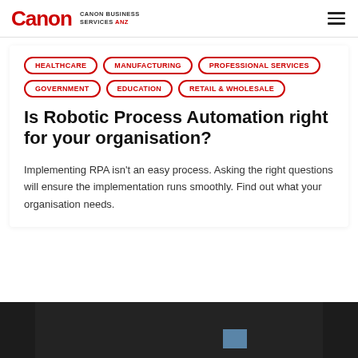Canon CANON BUSINESS SERVICES ANZ
HEALTHCARE
MANUFACTURING
PROFESSIONAL SERVICES
GOVERNMENT
EDUCATION
RETAIL & WHOLESALE
Is Robotic Process Automation right for your organisation?
Implementing RPA isn't an easy process. Asking the right questions will ensure the implementation runs smoothly. Find out what your organisation needs.
[Figure (photo): Dark image strip at the bottom of the page with a partial view of a scene]